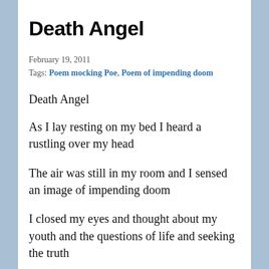Death Angel
February 19, 2011
Tags: Poem mocking Poe, Poem of impending doom
Death Angel
As I lay resting on my bed I heard a rustling over my head
The air was still in my room and I sensed an image of impending doom
I closed my eyes and thought about my youth and the questions of life and seeking the truth
I loved my family and... Read More